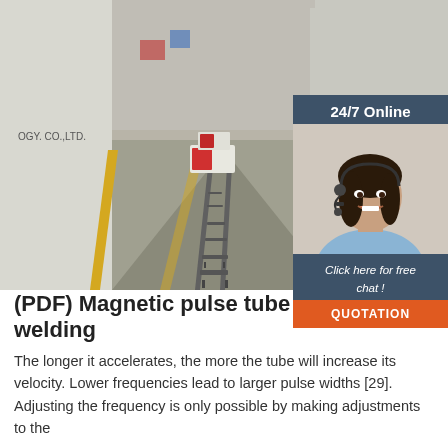[Figure (photo): Industrial photograph showing a long corridor between shipping containers with magnetic pulse tube welding equipment on rails running along the floor. Equipment is red and white. Text 'OGY. CO.,LTD.' visible on left container.]
[Figure (photo): Customer service widget: dark blue/slate panel with '24/7 Online' text at top, photo of a smiling woman with dark hair wearing a headset and light blue shirt, italic text 'Click here for free chat!', and an orange 'QUOTATION' button at bottom.]
(PDF) Magnetic pulse tube welding
The longer it accelerates, the more the tube will increase its velocity. Lower frequencies lead to larger pulse widths [29]. Adjusting the frequency is only possible by making adjustments to the